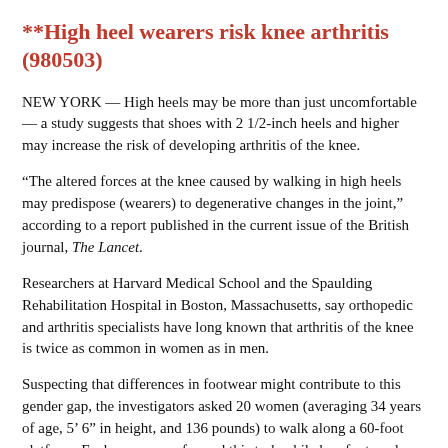**High heel wearers risk knee arthritis (980503)
NEW YORK — High heels may be more than just uncomfortable — a study suggests that shoes with 2 1/2-inch heels and higher may increase the risk of developing arthritis of the knee.
“The altered forces at the knee caused by walking in high heels may predispose (wearers) to degenerative changes in the joint,” according to a report published in the current issue of the British journal, The Lancet.
Researchers at Harvard Medical School and the Spaulding Rehabilitation Hospital in Boston, Massachusetts, say orthopedic and arthritis specialists have long known that arthritis of the knee is twice as common in women as in men.
Suspecting that differences in footwear might contribute to this gender gap, the investigators asked 20 women (averaging 34 years of age, 5’ 6” in height, and 136 pounds) to walk along a 60-foot platform. Each woman performed this task while barefoot, and then while wearing shoes with 2 1/2-inch heels. Pressure sensors embedded in the platform, along with videotapes of each test,